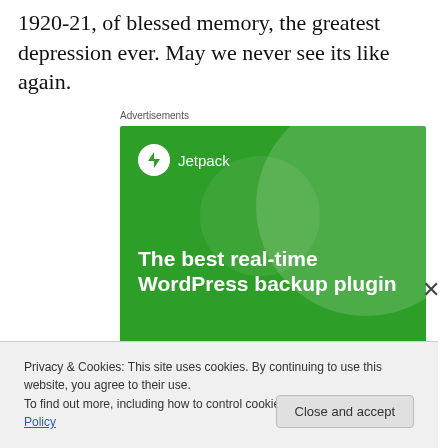1920-21, of blessed memory, the greatest depression ever. May we never see its like again.
Advertisements
[Figure (illustration): Jetpack WordPress plugin advertisement banner with green background, Jetpack logo, tagline 'The best real-time WordPress backup plugin', and a 'Back up your site' button]
Privacy & Cookies: This site uses cookies. By continuing to use this website, you agree to their use.
To find out more, including how to control cookies, see here: Cookie Policy